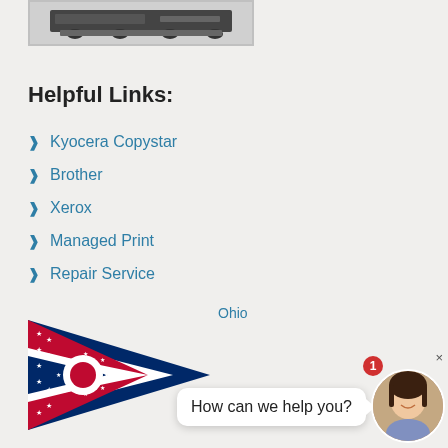[Figure (photo): Partial view of a printer/copier machine, cropped at top of page]
Helpful Links:
Kyocera Copystar
Brother
Xerox
Managed Print
Repair Service
Ohio
[Figure (illustration): Ohio state flag - navy blue background with red and white stripes and swallow-tail pennant shape, with large white circle containing red circle center, surrounded by stars]
[Figure (photo): Chat widget with speech bubble saying 'How can we help you?' and a woman avatar with red badge showing number 1, plus close X button]